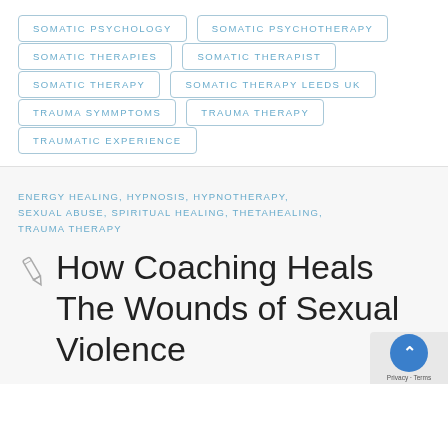SOMATIC PSYCHOLOGY
SOMATIC PSYCHOTHERAPY
SOMATIC THERAPIES
SOMATIC THERAPIST
SOMATIC THERAPY
SOMATIC THERAPY LEEDS UK
TRAUMA SYMMPTOMS
TRAUMA THERAPY
TRAUMATIC EXPERIENCE
ENERGY HEALING, HYPNOSIS, HYPNOTHERAPY, SEXUAL ABUSE, SPIRITUAL HEALING, THETAHEALING, TRAUMA THERAPY
How Coaching Heals The Wounds of Sexual Violence